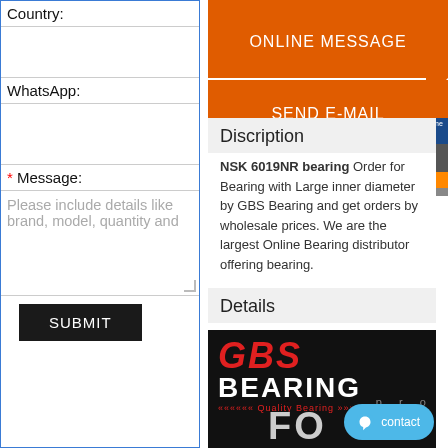Country:
WhatsApp:
* Message:
Please include details like brand, model, quantity and
SUBMIT
ONLINE MESSAGE
SEND E-MAIL
Discription
NSK 6019NR bearing Order for Bearing with Large inner diameter by GBS Bearing and get orders by wholesale prices. We are the largest Online Bearing distributor offering bearing.
Details
[Figure (logo): GBS Bearing logo with red GBS text and white BEARING text on black background, with Quality Bearing tagline and partial FOCUS text]
contact